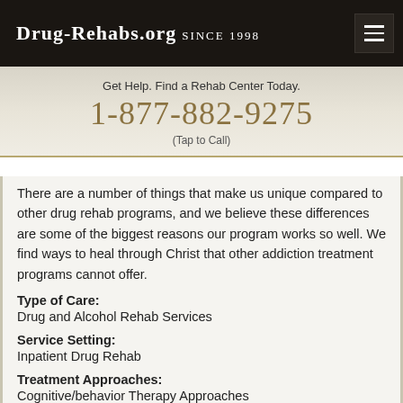Drug-Rehabs.org Since 1998
Get Help. Find a Rehab Center Today.
1-877-882-9275
(Tap to Call)
There are a number of things that make us unique compared to other drug rehab programs, and we believe these differences are some of the biggest reasons our program works so well. We find ways to heal through Christ that other addiction treatment programs cannot offer.
Type of Care:
Drug and Alcohol Rehab Services
Service Setting:
Inpatient Drug Rehab
Treatment Approaches:
Cognitive/behavior Therapy Approaches